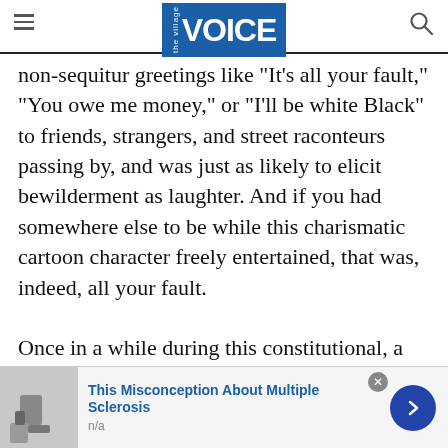the Village VOICE
non-sequitur greetings like "It's all your fault," "You owe me money," or "I'll be white Black" to friends, strangers, and street raconteurs passing by, and was just as likely to elicit bewilderment as laughter. And if you had somewhere else to be while this charismatic cartoon character freely entertained, that was, indeed, all your fault.

Once in a while during this constitutional, a fellow ol' timer might shout, "Hey, Lonnie," then proceed
[Figure (screenshot): Advertisement banner: 'This Misconception About Multiple Sclerosis' with thumbnail image of a person and a blue arrow button. Source listed as n/a.]